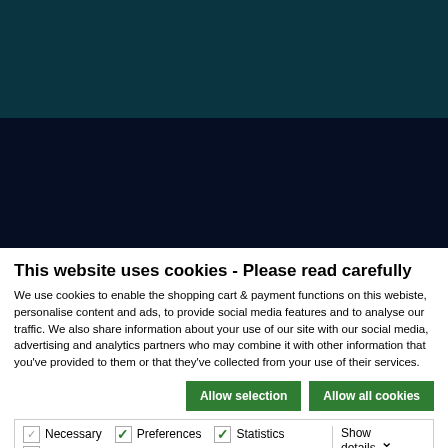[Figure (screenshot): Dark teal/navy header area of a website, two-tone dark background]
This website uses cookies - Please read carefully
We use cookies to enable the shopping cart & payment functions on this webiste, personalise content and ads, to provide social media features and to analyse our traffic. We also share information about your use of our site with our social media, advertising and analytics partners who may combine it with other information that you've provided to them or that they've collected from your use of their services.
Allow selection | Allow all cookies
| Necessary | Preferences | Statistics | Show details |
| Marketing |  |  |  |